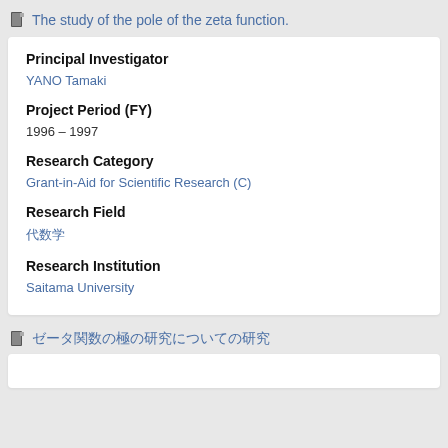The study of the pole of the zeta function.
Principal Investigator
YANO Tamaki
Project Period (FY)
1996 – 1997
Research Category
Grant-in-Aid for Scientific Research (C)
Research Field
代数学
Research Institution
Saitama University
ゼータ関数の極の研究についての研究